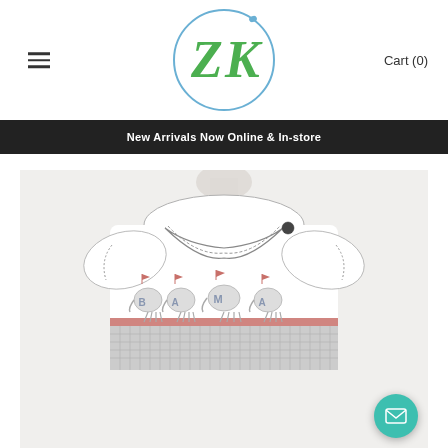[Figure (logo): ZK logo: stylized green Z and K letters inside a blue circle]
Cart (0)
New Arrivals Now Online & In-store
[Figure (photo): Baby/toddler white smocked outfit with elephant and BAMA embroidery, gray gingham trim and collar with button, displayed on a dress form]